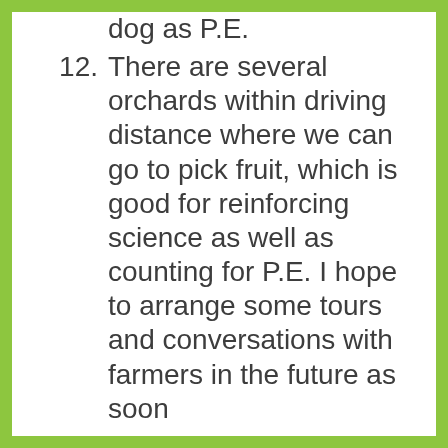dog as P.E.
12. There are several orchards within driving distance where we can go to pick fruit, which is good for reinforcing science as well as counting for P.E. I hope to arrange some tours and conversations with farmers in the future as soon